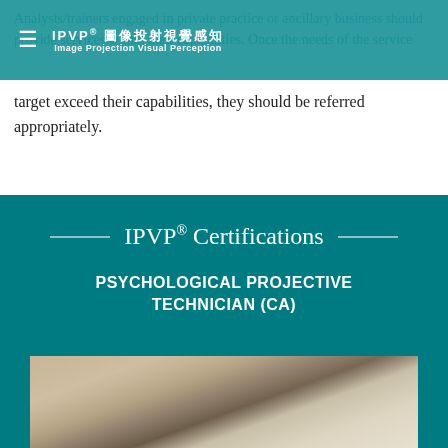IPVP® 圖像投射視覺感知 Image Projection Visual Perception
Analysts/trainers engaged in private practice or ancillary business should provide services within their capabilities. Once the needs of the service target exceed their capabilities, they should be referred appropriately.
IPVP® Certifications
PSYCHOLOGICAL PROJECTIVE TECHNICIAN (CA)
[Figure (photo): Hands holding or pointing at paper/document on a desk]